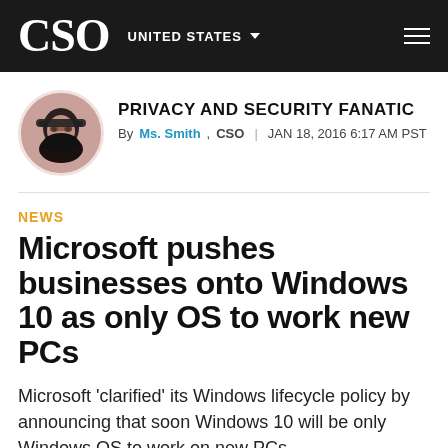CSO UNITED STATES
PRIVACY AND SECURITY FANATIC
By Ms. Smith, CSO | JAN 18, 2016 6:17 AM PST
NEWS
Microsoft pushes businesses onto Windows 10 as only OS to work new PCs
Microsoft 'clarified' its Windows lifecycle policy by announcing that soon Windows 10 will be only Windows OS to work on new PCs.